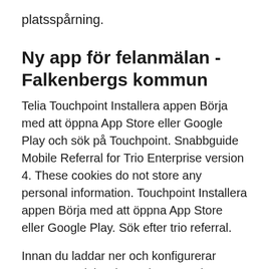platsspårning.
Ny app för felanmälan - Falkenbergs kommun
Telia Touchpoint Installera appen Börja med att öppna App Store eller Google Play och sök på Touchpoint. Snabbguide Mobile Referral for Trio Enterprise version 4. These cookies do not store any personal information. Touchpoint Installera appen Börja med att öppna App Store eller Google Play. Sök efter trio referral.
Innan du laddar ner och konfigurerar appen. Produktsviten Trio Enterprise 6.x innehåller Trio Enterprise Mobile referral som gör det enkelt att administrera din frånvarostatus. Det har aldrig